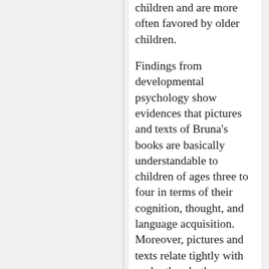children and are more often favored by older children. Findings from developmental psychology show evidences that pictures and texts of Bruna's books are basically understandable to children of ages three to four in terms of their cognition, thought, and language acquisition. Moreover, pictures and texts relate tightly with each other, both conveying the same stories. But often each of them contains the elements of the story which the other does not tell, so that pictures and texts compliment each other. These unity and complementarity give the whole book an exquisite balance between pictures and texts, an essential charm of